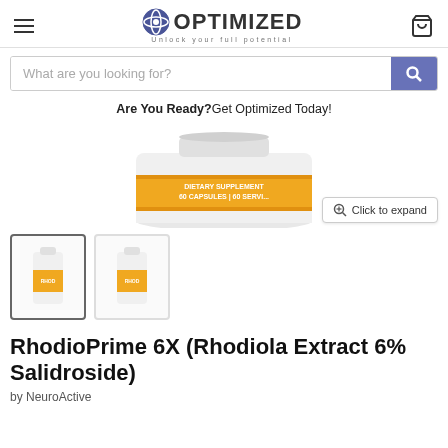OPTIMIZED — Unlock your full potential
What are you looking for?
Are You Ready?Get Optimized Today!
[Figure (photo): Product bottle of RhodioPrime 6X dietary supplement, 60 capsules, with white and orange label, shown from a slightly angled top view]
Click to expand
[Figure (photo): Thumbnail 1: small product bottle of RhodioPrime 6X (selected, with border)]
[Figure (photo): Thumbnail 2: small product bottle of RhodioPrime 6X]
RhodioPrime 6X (Rhodiola Extract 6% Salidroside)
by NeuroActive